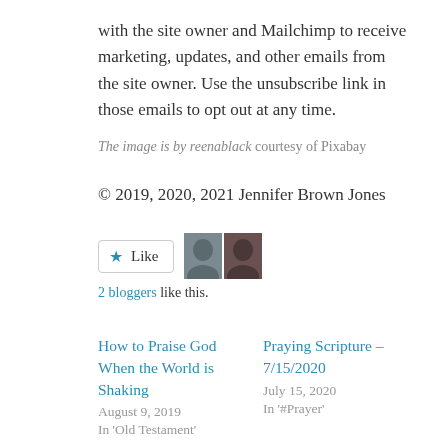with the site owner and Mailchimp to receive marketing, updates, and other emails from the site owner. Use the unsubscribe link in those emails to opt out at any time.
The image is by reenablack courtesy of Pixabay
© 2019, 2020, 2021 Jennifer Brown Jones
[Figure (other): Like button with star icon and two blogger avatars]
2 bloggers like this.
How to Praise God When the World is Shaking
August 9, 2019
In 'Old Testament'
Praying Scripture – 7/15/2020
July 15, 2020
In '#Prayer'
Praying Scripture through Advent – 12/12/2021
December 12, 2021